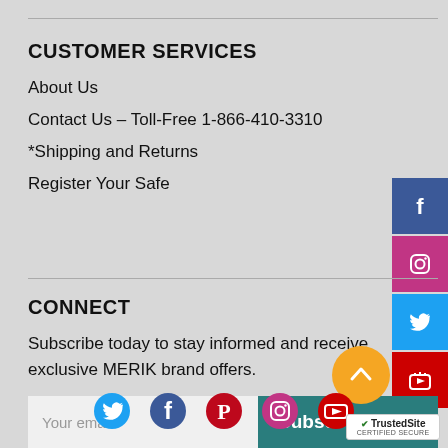CUSTOMER SERVICES
About Us
Contact Us – Toll-Free 1-866-410-3310
*Shipping and Returns
Register Your Safe
CONNECT
Subscribe today to stay informed and receive exclusive MERIK brand offers.
[Figure (screenshot): Email subscription input field with placeholder 'Your email' and a teal Subscribe button]
[Figure (infographic): Row of social media icons: Twitter, Facebook, Pinterest, Instagram, YouTube]
[Figure (infographic): TrustedSite certified secure badge]
[Figure (infographic): Social media sidebar buttons: Facebook, Instagram, Twitter, YouTube on the right edge]